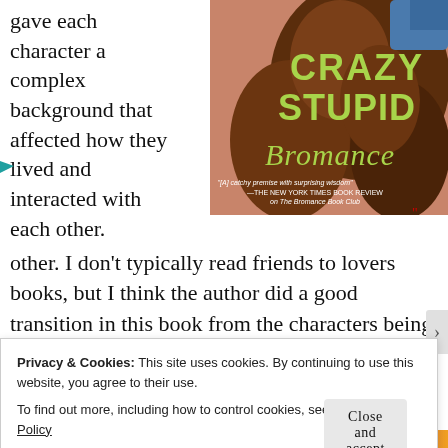gave each character a complex background that affected how they lived and interacted with each other. I don't typically read friends to lovers books, but I think the author did a good transition in this book from the characters being friends to something more. However, as I
[Figure (illustration): Book cover of 'Crazy Stupid Bromance' with green title text and brown/auburn hair imagery, quote from The New York Times Book Review on The Bromance Book Club]
Privacy & Cookies: This site uses cookies. By continuing to use this website, you agree to their use.
To find out more, including how to control cookies, see here: Cookie Policy
Close and accept